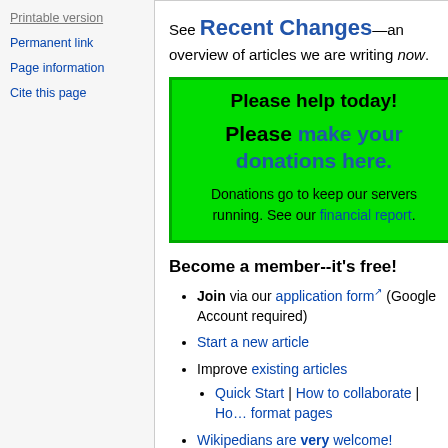Printable version
Permanent link
Page information
Cite this page
See Recent Changes—an overview of articles we are writing now.
Please help today! Please make your donations here. Donations go to keep our servers running. See our financial report.
Become a member--it's free!
Join via our application form (Google Account required)
Start a new article
Improve existing articles
Quick Start | How to collaborate | How to format pages
Wikipedians are very welcome!
Read our policies. We strive for objectiv…
We prefer new material but importing is…